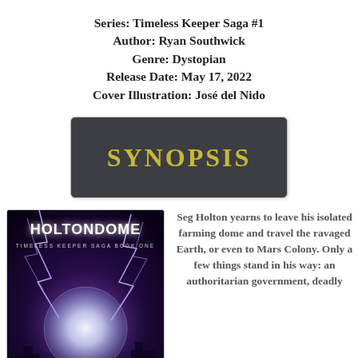Series: Timeless Keeper Saga #1
Author: Ryan Southwick
Genre: Dystopian
Release Date: May 17, 2022
Cover Illustration: José del Nido
[Figure (other): Dark gray/charcoal rounded rectangle banner with the word SYNOPSIS in large gold/yellow bold letters]
[Figure (photo): Book cover for Holtondome: Timeless Keeper Saga Book One. Dark dramatic cover with lightning, purple hues, a glowing orb, and bold white title text HOLTONDOME at top.]
Seg Holton yearns to leave his isolated farming dome and travel the ravaged Earth, or even to Mars Colony. Only a few things stand in his way: an authoritarian government, deadly